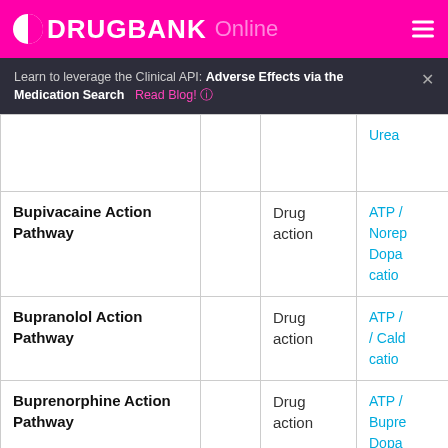DRUGBANK Online
Learn to leverage the Clinical API: Adverse Effects via the Medication Search  Read Blog!
| Pathway |  | Type | Linked items |
| --- | --- | --- | --- |
|  |  |  | Urea |
| Bupivacaine Action Pathway |  | Drug action | ATP / Norep Dopa catio |
| Bupranolol Action Pathway |  | Drug action | ATP / / Cald catio |
| Buprenorphine Action Pathway |  | Drug action | ATP / Bupre Dopa |